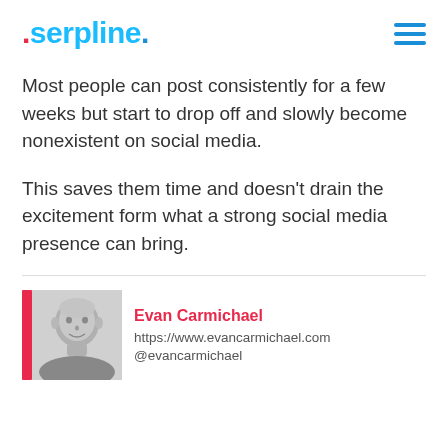serpline.
Most people can post consistently for a few weeks but start to drop off and slowly become nonexistent on social media.
This saves them time and doesn’t drain the excitement form what a strong social media presence can bring.
Evan Carmichael
https://www.evancarmichael.com
@evancarmichael